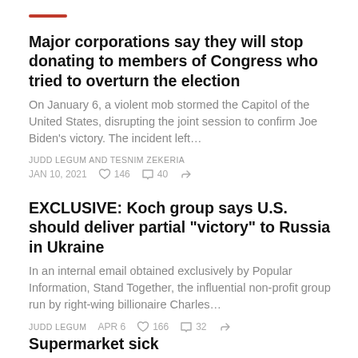Major corporations say they will stop donating to members of Congress who tried to overturn the election
On January 6, a violent mob stormed the Capitol of the United States, disrupting the joint session to confirm Joe Biden's victory. The incident left…
JUDD LEGUM AND TESNIM ZEKERIA
JAN 10, 2021  146  40
EXCLUSIVE: Koch group says U.S. should deliver partial "victory" to Russia in Ukraine
In an internal email obtained exclusively by Popular Information, Stand Together, the influential non-profit group run by right-wing billionaire Charles…
JUDD LEGUM  APR 6  166  32
Supermarket sick